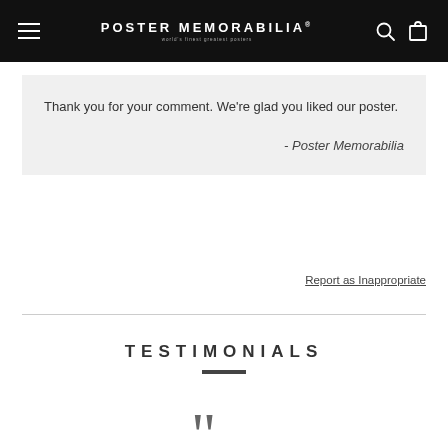POSTER MEMORABILIA
Thank you for your comment. We're glad you liked our poster.
- Poster Memorabilia
Report as Inappropriate
TESTIMONIALS
Absolutely in love with my posters